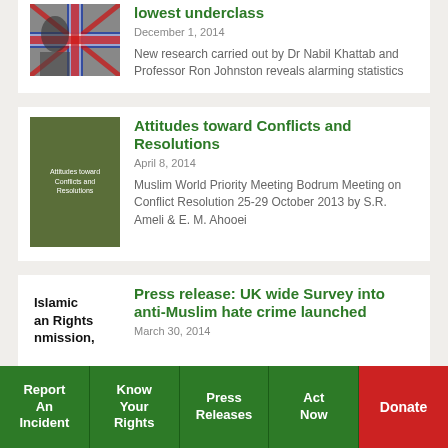[Figure (photo): Partial photo of person with UK flag]
lowest underclass
December 1, 2014
New research carried out by Dr Nabil Khattab and Professor Ron Johnston reveals alarming statistics
[Figure (photo): Green book cover: Attitudes toward Conflicts and Resolutions]
Attitudes toward Conflicts and Resolutions
April 8, 2014
Muslim World Priority Meeting Bodrum Meeting on Conflict Resolution 25-29 October 2013 by S.R. Ameli & E. M. Ahooei
[Figure (logo): Islamic Human Rights Commission logo text]
Press release: UK wide Survey into anti-Muslim hate crime launched
March 30, 2014
Report An Incident | Know Your Rights | Press Releases | Act Now | Donate